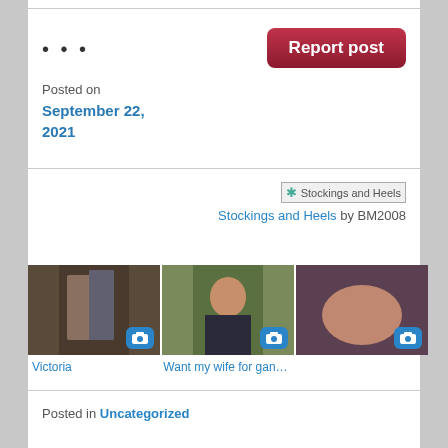...
[Figure (other): Report post button - red/crimson rounded button with white bold text]
Posted on
September 22, 2021
[Figure (photo): Broken image placeholder labeled 'Stockings and Heels']
Stockings and Heels by BM2008
[Figure (photo): Thumbnail photo 1 - Victoria]
[Figure (photo): Thumbnail photo 2 - Want my wife for gangba...]
[Figure (photo): Thumbnail photo 3 - partially visible]
Victoria
Want my wife for gangba
Posted in Uncategorized